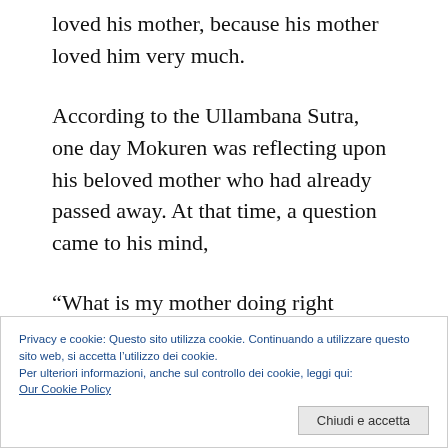loved his mother, because his mother loved him very much.
According to the Ullambana Sutra, one day Mokuren was reflecting upon his beloved mother who had already passed away. At that time, a question came to his mind,
"What is my mother doing right now?"
He had supernatural powers, which he had obtained through his hard practice, so he was able to see
Privacy e cookie: Questo sito utilizza cookie. Continuando a utilizzare questo sito web, si accetta l'utilizzo dei cookie.
Per ulteriori informazioni, anche sul controllo dei cookie, leggi qui:
Our Cookie Policy
Chiudi e accetta